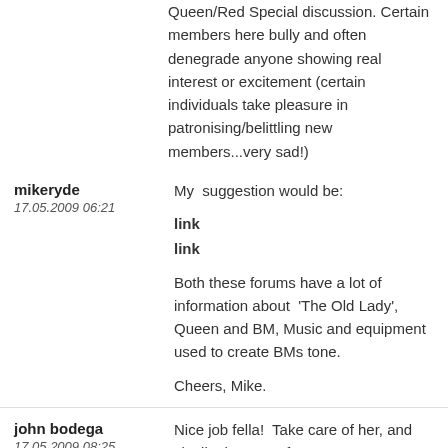Queen/Red Special discussion. Certain members here bully and often denegrade anyone showing real interest or excitement (certain individuals take pleasure in patronising/belittling new members...very sad!)
mikeryde
17.05.2009 06:21
My  suggestion would be:

link
link

Both these forums have a lot of information about  'The Old Lady', Queen and BM, Music and equipment used to create BMs tone.

Cheers, Mike.
john bodega
17.05.2009 08:25
Nice job fella!  Take care of her, and she'll take care of you.
mikeryde wrote: Certain members here bully and often denegrade anyone